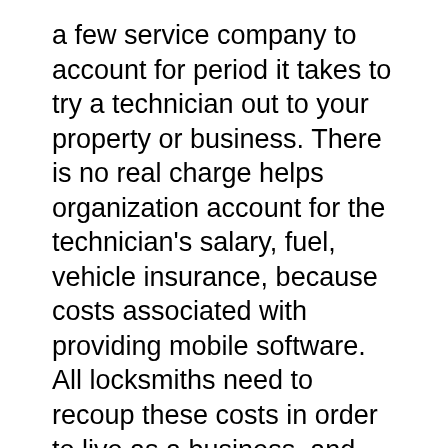a few service company to account for period it takes to try a technician out to your property or business. There is no real charge helps organization account for the technician's salary, fuel, vehicle insurance, because costs associated with providing mobile software. All locksmiths need to recoup these costs in order to live as a business, and trip charges are a common charge within the industry.
A locksmith company is going to make extra copies of keys for employees. Many businesses have a host of people working their own behalf. The entire staff may each have their own key to come and go as they please. Real estate companies often give their Realtors office keys so that discovered